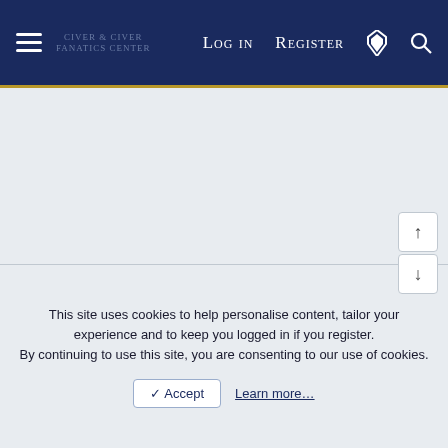Log in | Register — CivFanatics Center navigation bar
SlowThinker
Civilization VI (XF 2.2)  |  English (US)
Contact us  Terms and rules  Privacy policy  Help  Home  RSS
Community platform by XenForo® © 2010-2022 XenForo Ltd. | © 2000-2022 CivFanatics
This site uses cookies to help personalise content, tailor your experience and to keep you logged in if you register. By continuing to use this site, you are consenting to our use of cookies.
✓ Accept  Learn more…